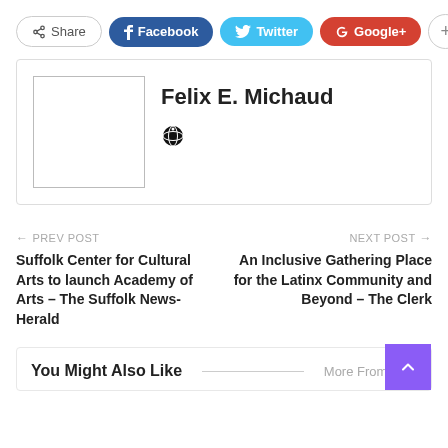[Figure (infographic): Social share bar with Share, Facebook, Twitter, Google+, and plus (+) buttons]
Felix E. Michaud
[Figure (illustration): Globe/location icon representing author website or profile link]
← PREV POST
Suffolk Center for Cultural Arts to launch Academy of Arts – The Suffolk News-Herald
NEXT POST →
An Inclusive Gathering Place for the Latinx Community and Beyond – The Clerk
You Might Also Like
More From Auth